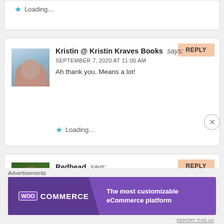Loading...
Kristin @ Kristin Kraves Books says: SEPTEMBER 7, 2020 AT 11:00 AM
Ah thank you. Means a lot!
Loading...
REPLY
Redhead says: SEPTEMBER 7, 2020 AT 10:00 AM
Congratulations on your award! Very much deserved!
REPLY
Advertisements
[Figure (logo): WooCommerce advertisement banner - purple background with WooCommerce logo on left and text 'The most customizable eCommerce platform' on right]